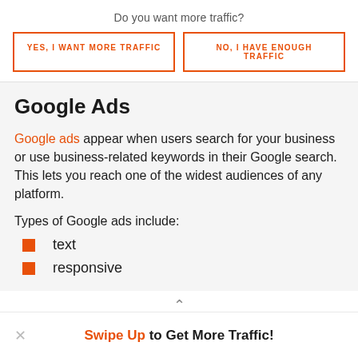Do you want more traffic?
YES, I WANT MORE TRAFFIC
NO, I HAVE ENOUGH TRAFFIC
Google Ads
Google ads appear when users search for your business or use business-related keywords in their Google search. This lets you reach one of the widest audiences of any platform.
Types of Google ads include:
text
responsive
Swipe Up to Get More Traffic!